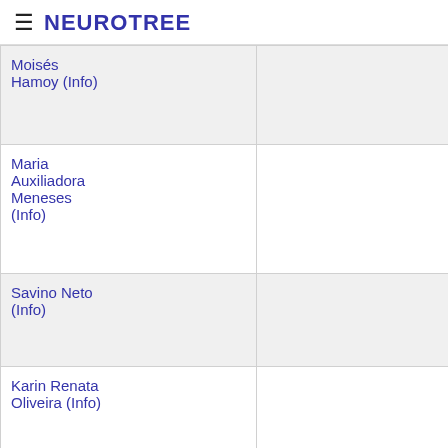≡ NEUROTREE
| Name |  |  |  |
| --- | --- | --- | --- |
| Moisés Hamoy (Info) |  |  | karinc |
| Maria Auxiliadora Meneses (Info) |  |  | karinc |
| Savino Neto (Info) |  |  | karinc |
| Karin Renata Oliveira (Info) |  |  | karinc |
| Maria Conceição Pinheiro (Info) |  |  | karinc |
| Chubert Bernardo |  |  | karinc |